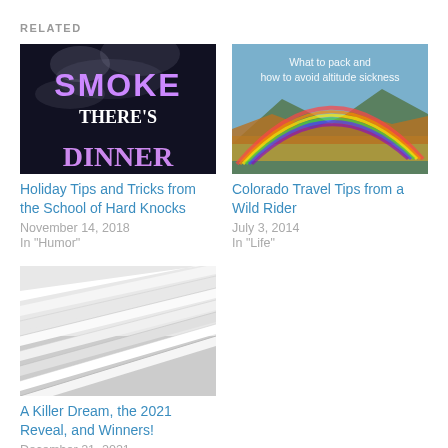RELATED
[Figure (photo): Dark background with smoke and text reading SMOKE THERE'S DINNER in purple and white letters]
Holiday Tips and Tricks from the School of Hard Knocks
November 14, 2018
In "Humor"
[Figure (photo): Rainbow over a mountain landscape with autumn foliage; text overlay reads 'What to pack and how to avoid altitude sickness']
Colorado Travel Tips from a Wild Rider
July 3, 2014
In "Life"
[Figure (photo): Stack of white layered paper or architectural model, viewed at an angle]
A Killer Dream, the 2021 Reveal, and Winners!
December 21, 2021
In "Holidays"